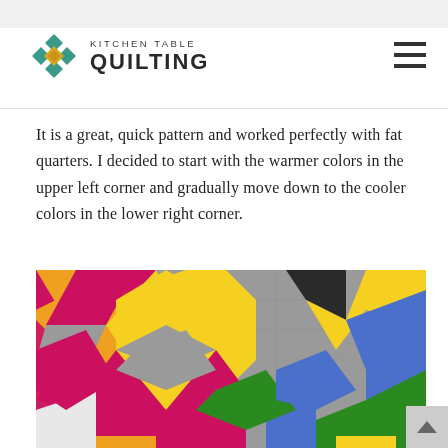Kitchen Table Quilting
It is a great, quick pattern and worked perfectly with fat quarters. I decided to start with the warmer colors in the upper left corner and gradually move down to the cooler colors in the lower right corner.
[Figure (photo): Close-up photograph of a star quilt pattern with colorful fabric pieces on a gray background. Stars are made from orange, yellow, magenta/pink, blue, green, and white fabrics arranged in a gradient from warm colors (upper left) to cool colors (lower right).]